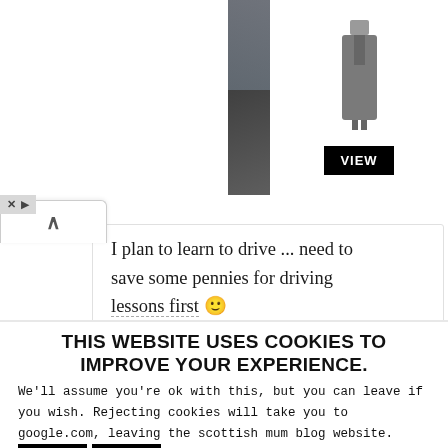[Figure (photo): Men's Wearhouse advertisement banner showing a couple in formal wear and a man in a grey suit, with a VIEW button]
I plan to learn to drive ... need to save some pennies for driving lessons first 🙂
THIS WEBSITE USES COOKIES TO IMPROVE YOUR EXPERIENCE.
We'll assume you're ok with this, but you can leave if you wish. Rejecting cookies will take you to google.com, leaving the scottish mum blog website.
Accept  Reject  Read More